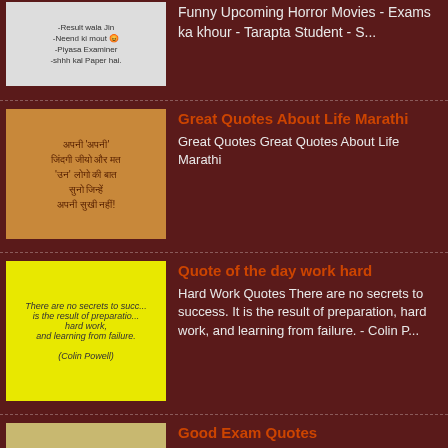Funny Upcoming Horror Movies - Exams ka khour - Tarapta Student - S...
Great Quotes About Life Marathi
Great Quotes Great Quotes About Life Marathi
Quote of the day work hard
Hard Work Quotes There are no secrets to success. It is the result of preparation, hard work, and learning from failure. - Colin P...
Good Exam Quotes
Inspirational Quotes Good Exam Quotes Your talent is Gods gift to you what you do with it is your gift back to God. - Good E...
#4 Faith Remedy Quotes
Faith Remedy Quotes  Faith Remedy Quotes Never lose ho... Juse when you think it is over, God sends you a miracle. - Amen....